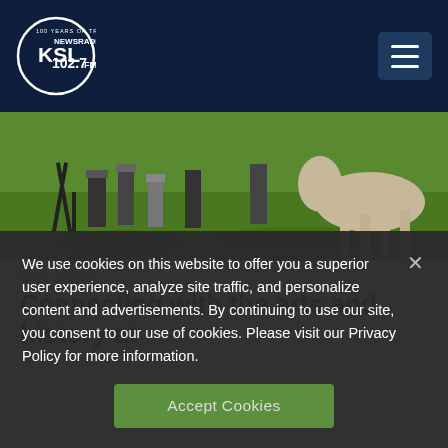KSL NewsRadio 102.7FM
[Figure (photo): Outdoor scene with people standing on grass near a horse and equipment, sunny day]
Chris Jacobs
Connecting with the arts and history at the Utah Rendezvous Fair
We use cookies on this website to offer you a superior user experience, analyze site traffic, and personalize content and advertisements. By continuing to use our site, you consent to our use of cookies. Please visit our Privacy Policy for more information.
Accept Cookies